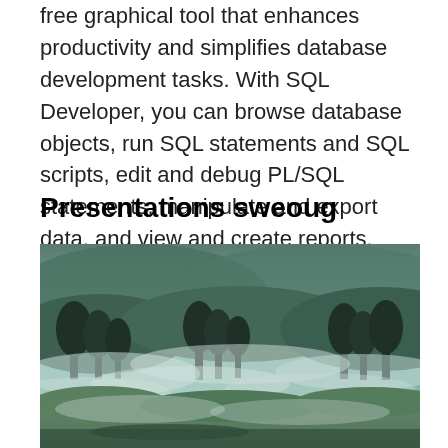free graphical tool that enhances productivity and simplifies database development tasks. With SQL Developer, you can browse database objects, run SQL statements and SQL scripts, edit and debug PL/SQL statements, manipulate and export data, and view and create reports.
Presentations sweoug
[Figure (photo): Landscape photograph showing a misty, foggy scene with dark coniferous trees, rolling hills or mountains in the background, and mossy green ground in the foreground. The image has a cool, moody teal-green color grading with steam or mist rising through the trees.]